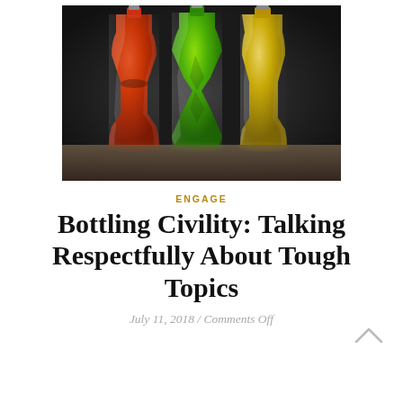[Figure (photo): Three decorative glass bottles filled with red, green, and golden/yellow liquids, photographed close-up on a dark background.]
ENGAGE
Bottling Civility: Talking Respectfully About Tough Topics
July 11, 2018 / Comments Off